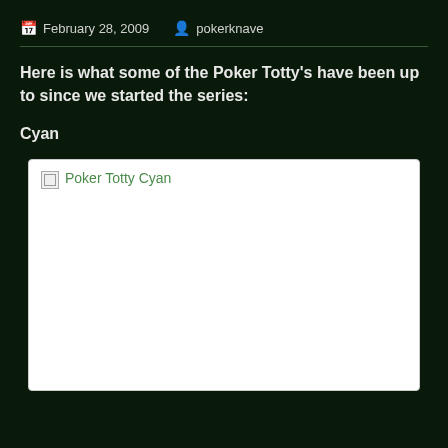February 28, 2009   pokerknave
Here is what some of the Poker Totty's have been up to since we started the series:
Cyan
[Figure (photo): Broken image placeholder for 'Poker Totty Cyan' — white box with alt text visible]